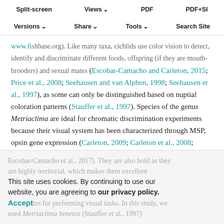Split-screen | Views | PDF | PDF+SI
Versions | Share | Tools | Search Site
www.fishbase.org). Like many taxa, cichlids use color vision to detect, identify and discriminate different foods, offspring (if they are mouth-brooders) and sexual mates (Escobar-Camacho and Carleton, 2015; Price et al., 2008; Seehausen and van Alphen, 1998; Seehausen et al., 1997), as some can only be distinguished based on nuptial coloration patterns (Stauffer et al., 1997). Species of the genus Metriaclima are ideal for chromatic discrimination experiments because their visual system has been characterized through MSP, opsin gene expression (Carleton, 2009; Carleton et al., 2008; Jordan et al., 2006) and analysis of retinal anatomy (Dalton et al., 2017; Escobar-Camacho et al., 2017). They are also bold as they are highly territorial, which makes them excellent candidates for performing visual tasks. In this study, we used Metriaclima benetos (Stauffer et al., 1997) as a
This site uses cookies. By continuing to use our website, you are agreeing to our privacy policy. Accept